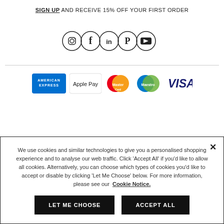SIGN UP AND RECEIVE 15% OFF YOUR FIRST ORDER
[Figure (illustration): Five social media icons in circles: Instagram, Facebook, LinkedIn, Pinterest, YouTube]
[Figure (illustration): Payment method logos: American Express, Apple Pay, MasterCard, Maestro, VISA]
We use cookies and similar technologies to give you a personalised shopping experience and to analyse our web traffic. Click 'Accept All' if you'd like to allow all cookies. Alternatively, you can choose which types of cookies you'd like to accept or disable by clicking 'Let Me Choose' below. For more information, please see our Cookie Notice.
LET ME CHOOSE
ACCEPT ALL